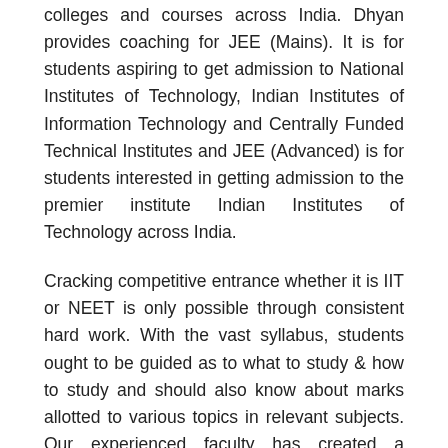colleges and courses across India. Dhyan provides coaching for JEE (Mains). It is for students aspiring to get admission to National Institutes of Technology, Indian Institutes of Information Technology and Centrally Funded Technical Institutes and JEE (Advanced) is for students interested in getting admission to the premier institute Indian Institutes of Technology across India.
Cracking competitive entrance whether it is IIT or NEET is only possible through consistent hard work. With the vast syllabus, students ought to be guided as to what to study & how to study and should also know about marks allotted to various topics in relevant subjects. Our experienced faculty has created a databank comprising previous years question papers, which they compile to create study material, & test papers for